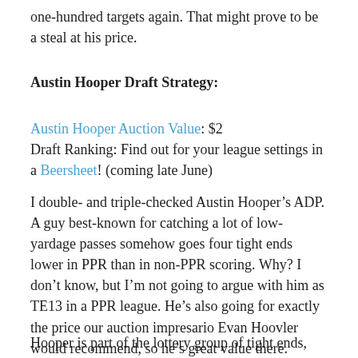one-hundred targets again. That might prove to be a steal at his price.
Austin Hooper Draft Strategy:
Austin Hooper Auction Value: $2
Draft Ranking: Find out for your league settings in a Beersheet! (coming late June)
I double- and triple-checked Austin Hooper’s ADP. A guy best-known for catching a lot of low-yardage passes somehow goes four tight ends lower in PPR than in non-PPR scoring. Why? I don’t know, but I’m not going to argue with him as TE13 in a PPR league. He’s also going for exactly the price our auction impresario Evan Hoovler would recommend, so he’s great value there.
Hooper is part of the lottery group of tight ends, where